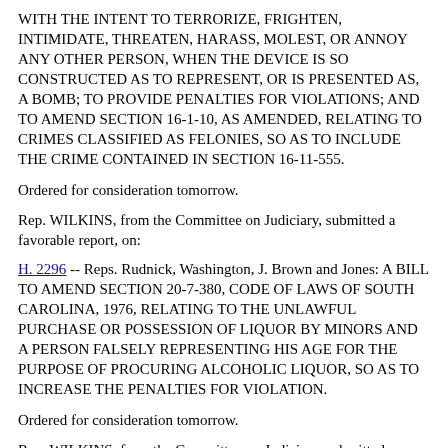WITH THE INTENT TO TERRORIZE, FRIGHTEN, INTIMIDATE, THREATEN, HARASS, MOLEST, OR ANNOY ANY OTHER PERSON, WHEN THE DEVICE IS SO CONSTRUCTED AS TO REPRESENT, OR IS PRESENTED AS, A BOMB; TO PROVIDE PENALTIES FOR VIOLATIONS; AND TO AMEND SECTION 16-1-10, AS AMENDED, RELATING TO CRIMES CLASSIFIED AS FELONIES, SO AS TO INCLUDE THE CRIME CONTAINED IN SECTION 16-11-555.
Ordered for consideration tomorrow.
Rep. WILKINS, from the Committee on Judiciary, submitted a favorable report, on:
H. 2296 -- Reps. Rudnick, Washington, J. Brown and Jones: A BILL TO AMEND SECTION 20-7-380, CODE OF LAWS OF SOUTH CAROLINA, 1976, RELATING TO THE UNLAWFUL PURCHASE OR POSSESSION OF LIQUOR BY MINORS AND A PERSON FALSELY REPRESENTING HIS AGE FOR THE PURPOSE OF PROCURING ALCOHOLIC LIQUOR, SO AS TO INCREASE THE PENALTIES FOR VIOLATION.
Ordered for consideration tomorrow.
Rep. WILKINS, from the Committee on Judiciary, submitted a favorable report, with amendments, on: